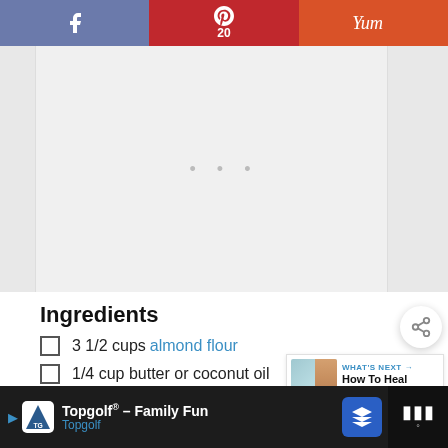[Figure (screenshot): Social share bar with Facebook (blue-grey), Pinterest with count 20 (red), and Yummly (orange) buttons]
[Figure (screenshot): Advertisement placeholder box with loading dots]
Ingredients
3 1/2 cups almond flour
1/4 cup butter or coconut oil
1/4 tsp sea salt
[Figure (screenshot): What's Next promotional widget: How To Heal Keratosis...]
[Figure (screenshot): Topgolf advertisement banner: Topgolf® - Family Fun, Topgolf]